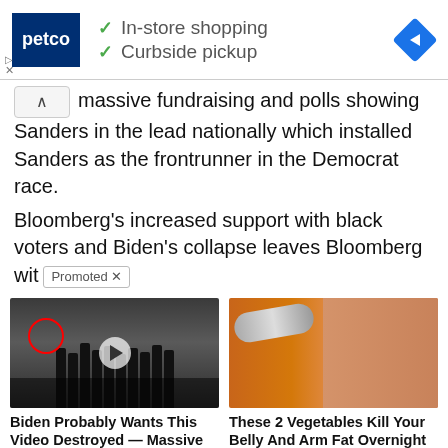[Figure (screenshot): Petco advertisement banner with logo, checkmarks for In-store shopping and Curbside pickup, and a blue navigation diamond icon]
massive fundraising and polls showing Sanders in the lead nationally which installed Sanders as the frontrunner in the Democrat race.
Bloomberg's increased support with black voters and Biden's collapse leaves Bloomberg wit
[Figure (photo): Video thumbnail showing men in suits at CIA headquarters with a red circle highlight and play button overlay]
Biden Probably Wants This Video Destroyed — Massive Currency Upheaval Has Started
225,623
[Figure (photo): Image showing a spoon with spice/powder next to a fit person's midsection]
These 2 Vegetables Kill Your Belly And Arm Fat Overnight
15,533